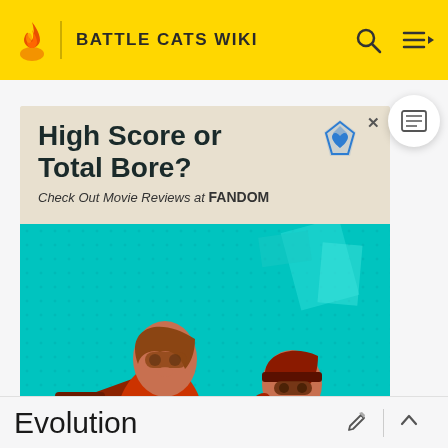BATTLE CATS WIKI
[Figure (screenshot): Fandom advertisement banner: 'High Score or Total Bore? Check Out Movie Reviews at FANDOM' with two video game characters on a teal background]
ADVERTISEMENT
Evolution